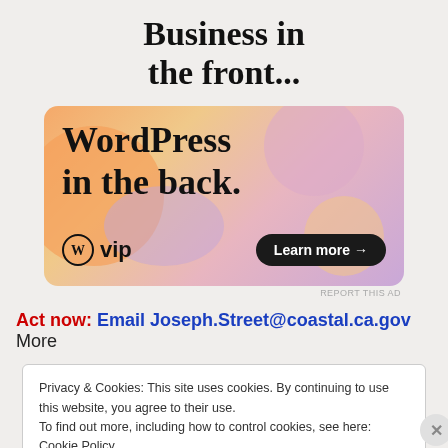Business in the front...
[Figure (illustration): WordPress VIP advertisement banner with colorful gradient background (orange, pink, purple blobs). Text reads 'WordPress in the back.' with WordPress VIP logo and 'Learn more →' button.]
REPORT THIS AD
Act now: Email Joseph.Street@coastal.ca.gov More
Privacy & Cookies: This site uses cookies. By continuing to use this website, you agree to their use.
To find out more, including how to control cookies, see here: Cookie Policy
Close and accept